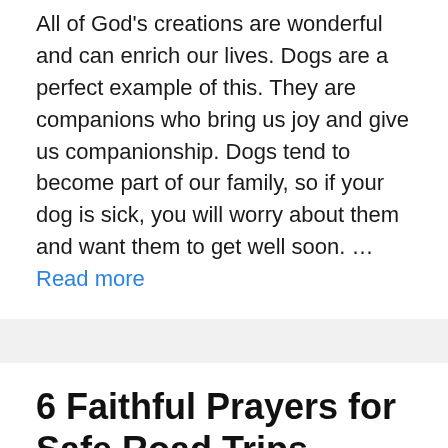All of God's creations are wonderful and can enrich our lives. Dogs are a perfect example of this. They are companions who bring us joy and give us companionship. Dogs tend to become part of our family, so if your dog is sick, you will worry about them and want them to get well soon. … Read more
6 Faithful Prayers for Safe Road Trips